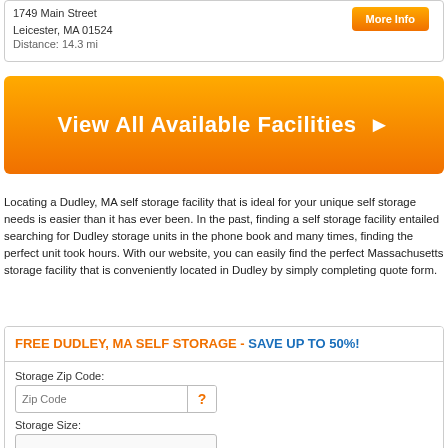1749 Main Street
Leicester, MA 01524
Distance: 14.3 mi
[Figure (other): Orange 'More Info' button]
[Figure (other): Orange banner button reading 'View All Available Facilities ▶']
Locating a Dudley, MA self storage facility that is ideal for your unique self storage needs is easier than it has ever been. In the past, finding a self storage facility entailed searching for Dudley storage units in the phone book and many times, finding the perfect unit took hours. With our website, you can easily find the perfect Massachusetts storage facility that is conveniently located in Dudley by simply completing quote form.
FREE DUDLEY, MA SELF STORAGE - SAVE UP TO 50%!
Storage Zip Code:
Zip Code
Storage Size: